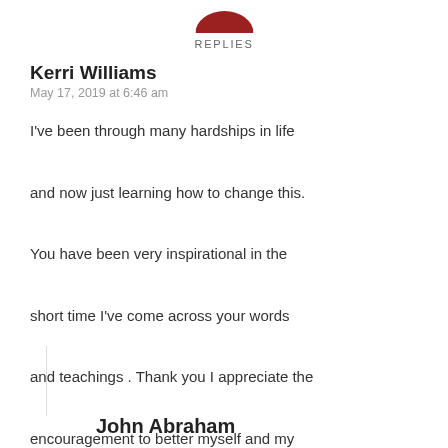REPLIES
Kerri Williams
May 17, 2019 at 6:46 am
I've been through many hardships in life and now just learning how to change this. You have been very inspirational in the short time I've come across your words and teachings . Thank you I appreciate the encouragement to better myself and my thoughts on the world . One love
Reply
John Abraham